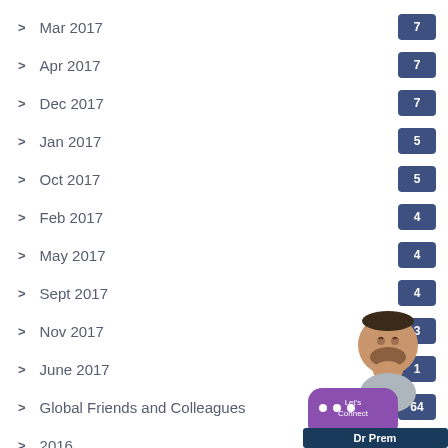> Mar 2017 | 7
> Apr 2017 | 7
> Dec 2017 | 7
> Jan 2017 | 5
> Oct 2017 | 5
> Feb 2017 | 4
> May 2017 | 4
> Sept 2017 | 4
> Nov 2017 | 3
> June 2017 | 1
> Global Friends and Colleagues | 64
> 2016
> Sep 2016
> May 2016 | 9
[Figure (illustration): Dr Prem widget — cartoon figure of a man with speech bubble saying 'Let's Connect' and Dr Prem branding label]